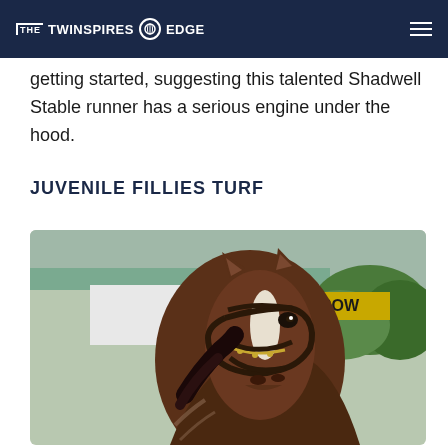THE TWINSPIRES EDGE
getting started, suggesting this talented Shadwell Stable runner has a serious engine under the hood.
JUVENILE FILLIES TURF
[Figure (photo): Close-up photo of a bay horse wearing a bridle, standing in front of a stable building with green trim and foliage in the background.]